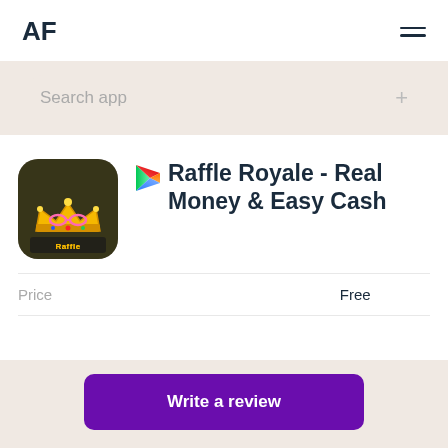AF
Search app
[Figure (illustration): Raffle Royale app icon: dark brown background with golden crown wearing pink glasses, text 'Raffle Royale' at bottom]
Raffle Royale - Real Money & Easy Cash
Price	Free
Write a review